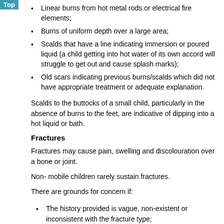Linear burns from hot metal rods or electrical fire elements;
Burns of uniform depth over a large area;
Scalds that have a line indicating immersion or poured liquid (a child getting into hot water of its own accord will struggle to get out and cause splash marks);
Old scars indicating previous burns/scalds which did not have appropriate treatment or adequate explanation.
Scalds to the buttocks of a small child, particularly in the absence of burns to the feet, are indicative of dipping into a hot liquid or bath.
Fractures
Fractures may cause pain, swelling and discolouration over a bone or joint.
Non- mobile children rarely sustain fractures.
There are grounds for concern if:
The history provided is vague, non-existent or inconsistent with the fracture type;